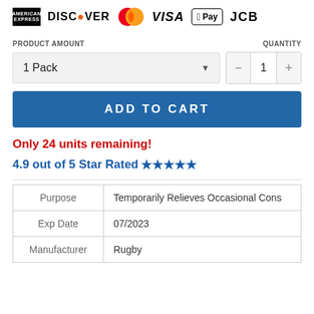[Figure (logo): Payment method icons: American Express, Discover, MasterCard, Visa, Apple Pay, JCB]
PRODUCT AMOUNT
QUANTITY
1 Pack
1
ADD TO CART
Only 24 units remaining!
4.9 out of 5 Star Rated ★★★★★
| Purpose | Temporarily Relieves Occasional Cons |
| Exp Date | 07/2023 |
| Manufacturer | Rugby |